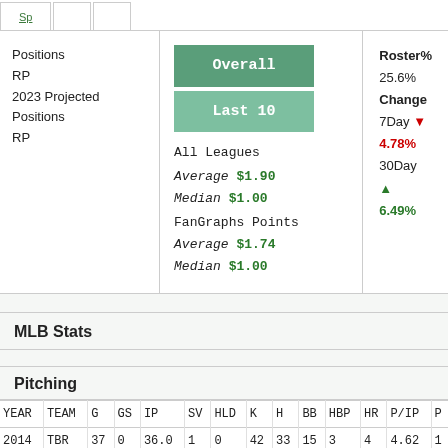Positions
RP
2023 Projected Positions
RP
Overall
Last 10
All Leagues
Average $1.90
Median $1.00
FanGraphs Points
Average $1.74
Median $1.00
Roster%
25.6%
Change
7Day ▼ 4.78%
30Day ▲ 6.49%
MLB Stats
Pitching
| YEAR | TEAM | G | GS | IP | SV | HLD | K | H | BB | HBP | HR | P/IP | P |
| --- | --- | --- | --- | --- | --- | --- | --- | --- | --- | --- | --- | --- | --- |
| 2014 | TBR | 37 | 0 | 36.0 | 1 | 0 | 42 | 33 | 15 | 3 | 4 | 4.62 | 1 |
| 2015 | TBR | 20 | 0 | 20.1 | 0 | 0 | 21 | 23 | 7 | 1 | 10 | -0.7 |  |